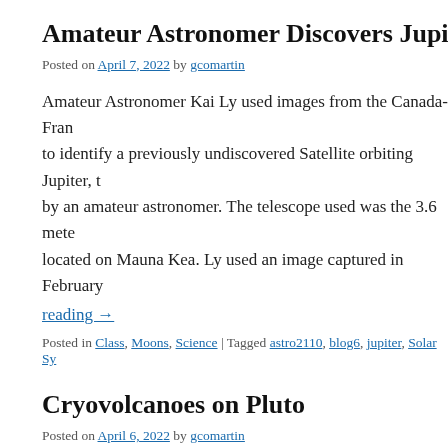Amateur Astronomer Discovers Jupiter's
Posted on April 7, 2022 by gcomartin
Amateur Astronomer Kai Ly used images from the Canada-Fran to identify a previously undiscovered Satellite orbiting Jupiter, t by an amateur astronomer. The telescope used was the 3.6 mete located on Mauna Kea. Ly used an image captured in February
reading →
Posted in Class, Moons, Science | Tagged astro2110, blog6, jupiter, Solar Sy
Cryovolcanoes on Pluto
Posted on April 6, 2022 by gcomartin
A recent discovery published by Nature Communications has re the surface of Pluto. The images which lead to this discovery wo Horizons in 2015, but it was only recently that scientists were al there and discover to be such a thing as [...]  Conti